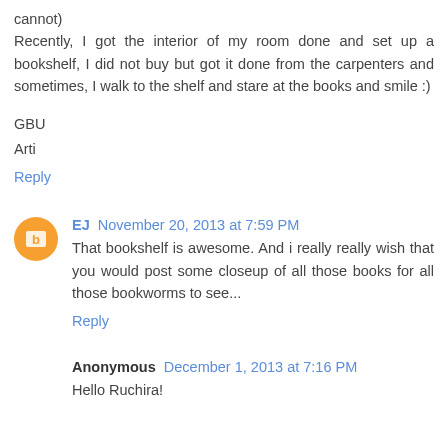cannot)
Recently, I got the interior of my room done and set up a bookshelf, I did not buy but got it done from the carpenters and sometimes, I walk to the shelf and stare at the books and smile :)
GBU
Arti
Reply
EJ November 20, 2013 at 7:59 PM
That bookshelf is awesome. And i really really wish that you would post some closeup of all those books for all those bookworms to see...
Reply
Anonymous December 1, 2013 at 7:16 PM
Hello Ruchira!